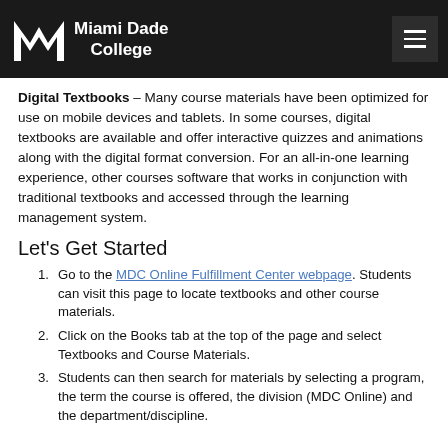Miami Dade College
Digital Textbooks – Many course materials have been optimized for use on mobile devices and tablets. In some courses, digital textbooks are available and offer interactive quizzes and animations along with the digital format conversion. For an all-in-one learning experience, other courses software that works in conjunction with traditional textbooks and accessed through the learning management system.
Let's Get Started
Go to the MDC Online Fulfillment Center webpage. Students can visit this page to locate textbooks and other course materials.
Click on the Books tab at the top of the page and select Textbooks and Course Materials.
Students can then search for materials by selecting a program, the term the course is offered, the division (MDC Online) and the department/discipline.